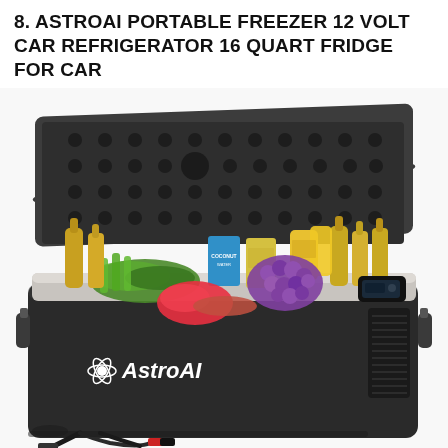8. ASTROAI PORTABLE FREEZER 12 VOLT CAR REFRIGERATOR 16 QUART FRIDGE FOR CAR
[Figure (photo): Product photo of AstroAI portable car freezer/refrigerator, open lid revealing food and beverages inside including bottles, cans, grapes, vegetables, watermelon, and juice boxes. The exterior is black with gray trim, AstroAI logo on the front, ventilation grill on right side, and power cables visible at the bottom.]